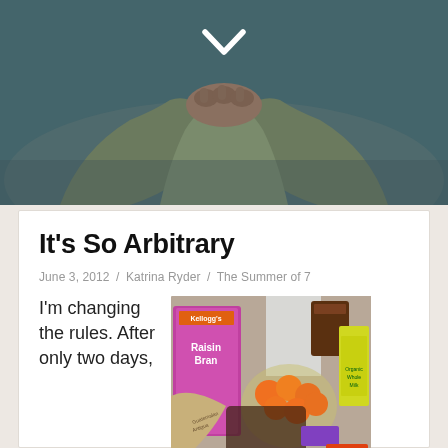[Figure (photo): Hero image showing a person in a grey knit sweater with hands clasped together, partially out of frame. A white checkmark/down-chevron icon is overlaid at the top center of the image. Teal/blue blurred background.]
It’s So Arbitrary
June 3, 2012 / Katrina Ryder / The Summer of 7
I’m changing the rules. After only two days,
[Figure (photo): Photo of grocery items spread on a table including a box of Kellogg's Raisin Bran, a bag of oranges/clementines, organic whole milk carton, and various other grocery items.]